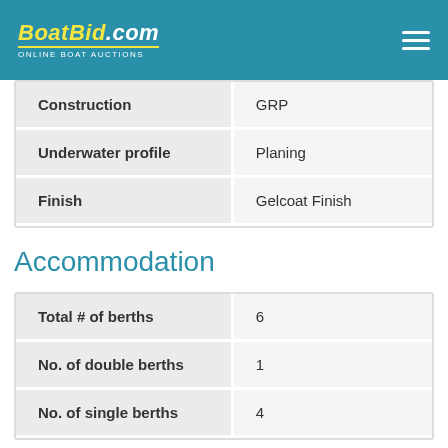BoatBid.com — ONLINE BOAT AUCTIONS
| Construction | GRP |
| Underwater profile | Planing |
| Finish | Gelcoat Finish |
Accommodation
| Total # of berths | 6 |
| No. of double berths | 1 |
| No. of single berths | 4 |